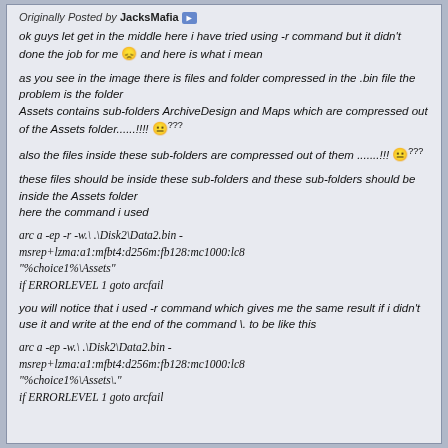Originally Posted by JacksMafia
ok guys let get in the middle here i have tried using -r command but it didn't done the job for me and here is what i mean
as you see in the image there is files and folder compressed in the .bin file the problem is the folder Assets contains sub-folders ArchiveDesign and Maps which are compressed out of the Assets folder......!!!! also the files inside these sub-folders are compressed out of them .......!!! these files should be inside these sub-folders and these sub-folders should be inside the Assets folder here the command i used
arc a -ep -r -w.\ .\Disk2\Data2.bin -msrep+lzma:a1:mfbt4:d256m:fb128:mc1000:lc8 "%choice1%\Assets" if ERRORLEVEL 1 goto arcfail
you will notice that i used -r command which gives me the same result if i didn't use it and write at the end of the command \. to be like this
arc a -ep -w.\ .\Disk2\Data2.bin -msrep+lzma:a1:mfbt4:d256m:fb128:mc1000:lc8 "%choice1%\Assets\." if ERRORLEVEL 1 goto arcfail